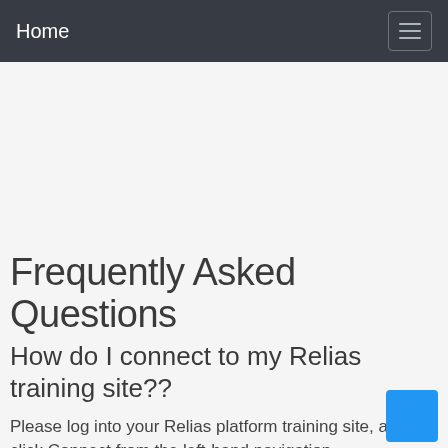Home
Frequently Asked Questions
How do I connect to my Relias training site??
Please log into your Relias platform training site, and click Connect from the left-hand navigation.
How much do Relias Learning courses